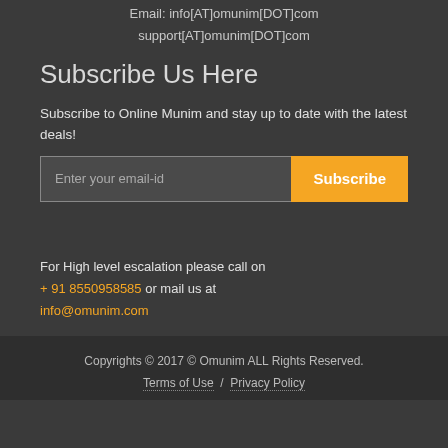Email: info[AT]omunim[DOT]com
support[AT]omunim[DOT]com
Subscribe Us Here
Subscribe to Online Munim and stay up to date with the latest deals!
Enter your email-id [Subscribe button]
For High level escalation please call on + 91 8550958585 or mail us at info@omunim.com
Copyrights © 2017 © Omunim ALL Rights Reserved.
Terms of Use / Privacy Policy